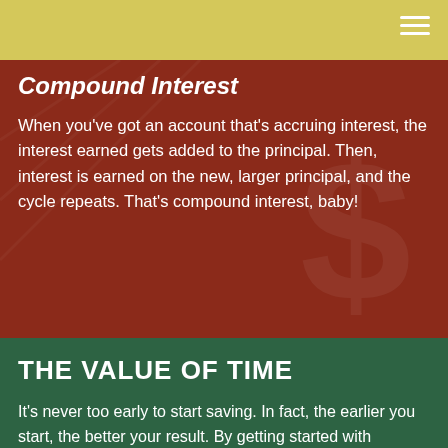Compound Interest
When you've got an account that's accruing interest, the interest earned gets added to the principal. Then, interest is earned on the new, larger principal, and the cycle repeats. That's compound interest, baby!
THE VALUE OF TIME
It's never too early to start saving. In fact, the earlier you start, the better your result. By getting started with retirement savings sooner rather than later, you can leverage the value of time to your advantage.